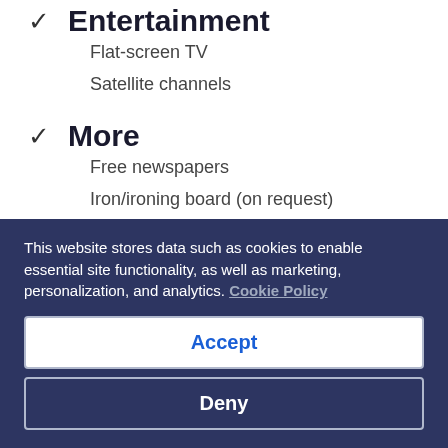Entertainment
Flat-screen TV
Satellite channels
More
Free newspapers
Iron/ironing board (on request)
Safe
Soundproofing
This website stores data such as cookies to enable essential site functionality, as well as marketing, personalization, and analytics. Cookie Policy
Accept
Deny